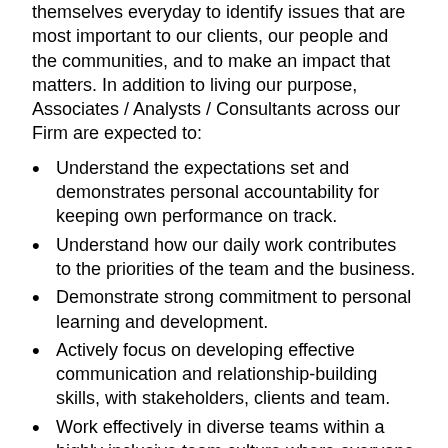themselves everyday to identify issues that are most important to our clients, our people and the communities, and to make an impact that matters. In addition to living our purpose, Associates / Analysts / Consultants across our Firm are expected to:
Understand the expectations set and demonstrates personal accountability for keeping own performance on track.
Understand how our daily work contributes to the priorities of the team and the business.
Demonstrate strong commitment to personal learning and development.
Actively focus on developing effective communication and relationship-building skills, with stakeholders, clients and team.
Work effectively in diverse teams within a highly inclusive team culture where everyone is supported, respected and recognized for